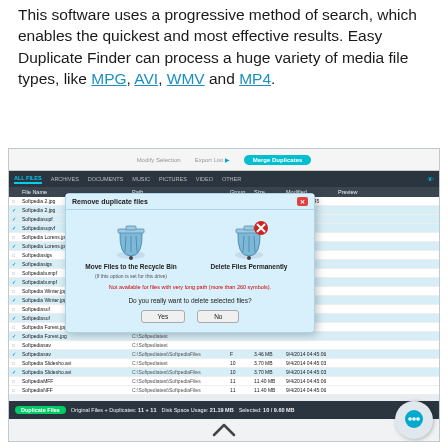This software uses a progressive method of search, which enables the quickest and most effective results. Easy Duplicate Finder can process a huge variety of media file types, like MPG, AVI, WMV and MP4.
[Figure (screenshot): Screenshot of Easy Duplicate Finder application showing a file list with duplicate files, and a 'Remove duplicate files' dialog box with options to Move Files to the Recycle Bin or Delete Files Permanently, along with Yes/No buttons.]